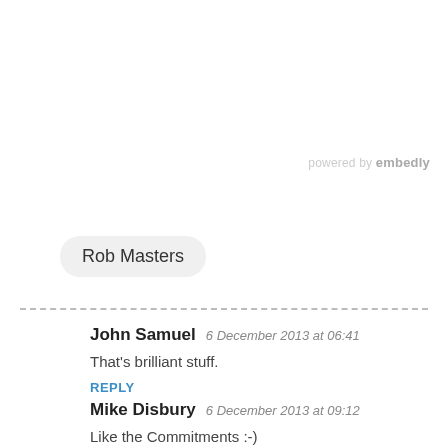powered by embedly
Rob Masters
John Samuel  6 December 2013 at 06:41
That's brilliant stuff.
REPLY
Mike Disbury  6 December 2013 at 09:12
Like the Commitments :-)